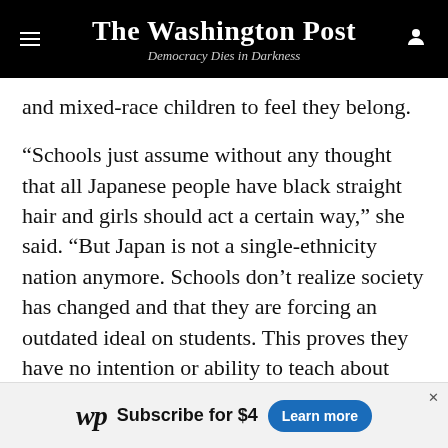The Washington Post — Democracy Dies in Darkness
and mixed-race children to feel they belong.
“Schools just assume without any thought that all Japanese people have black straight hair and girls should act a certain way,” she said. “But Japan is not a single-ethnicity nation anymore. Schools don’t realize society has changed and that they are forcing an outdated ideal on students. This proves they have no intention or ability to teach about diversity.”
Nozu said one of her classmates was labeled a “troublemaker” because she struggled to follow the
wp  Subscribe for $4  Learn more